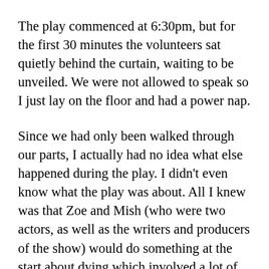The play commenced at 6:30pm, but for the first 30 minutes the volunteers sat quietly behind the curtain, waiting to be unveiled. We were not allowed to speak so I just lay on the floor and had a power nap.
Since we had only been walked through our parts, I actually had no idea what else happened during the play. I didn't even know what the play was about. All I knew was that Zoe and Mish (who were two actors, as well as the writers and producers of the show) would do something at the start about dying which involved a lot of fake blood. Then they would clean the blood. Then the curtain behind them would rise and my chance to shine would be nigh. As it turned out, the opening scene was a